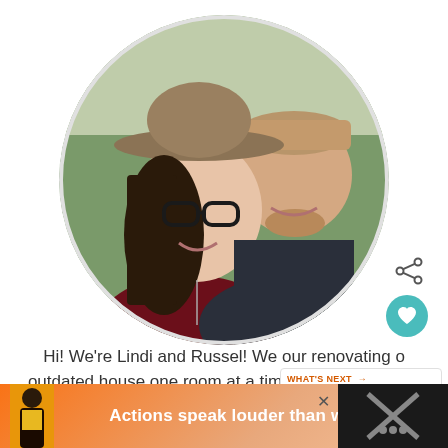[Figure (photo): Circular cropped photo of a couple: a woman wearing a wide-brim hat, glasses, and dark clothing, and a man in a dark pullover, smiling outdoors.]
Hi! We're Lindi and Russel! We our renovating our outdated house one room at a time and making it into a modern home we love. Grab a cup of coffee and stay a while!
[Figure (screenshot): What's Next widget showing 'How to Cut Wooden...' with a thumbnail image of wooden items.]
[Figure (photo): Advertisement banner: person on left, text 'Actions speak louder than words.' on orange gradient background, close X button, and dark icon panel on right.]